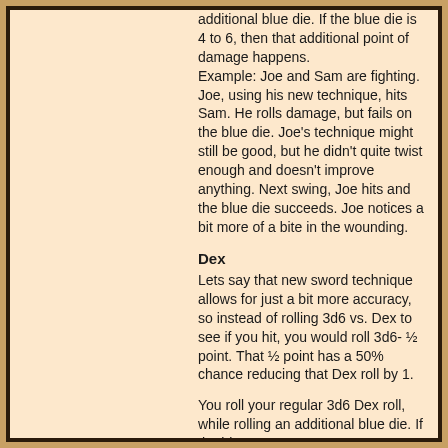additional blue die. If the blue die is 4 to 6, then that additional point of damage happens.
Example: Joe and Sam are fighting. Joe, using his new technique, hits Sam. He rolls damage, but fails on the blue die. Joe's technique might still be good, but he didn't quite twist enough and doesn't improve anything. Next swing, Joe hits and the blue die succeeds. Joe notices a bit more of a bite in the wounding.
Dex
Lets say that new sword technique allows for just a bit more accuracy, so instead of rolling 3d6 vs. Dex to see if you hit, you would roll 3d6- ½ point. That ½ point has a 50% chance reducing that Dex roll by 1.
You roll your regular 3d6 Dex roll, while rolling an additional blue die. If the blue